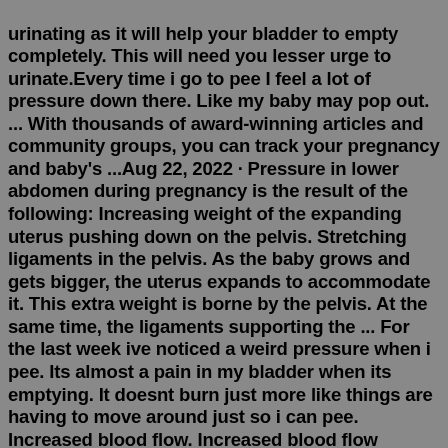urinating as it will help your bladder to empty completely. This will need you lesser urge to urinate.Every time i go to pee I feel a lot of pressure down there. Like my baby may pop out. ... With thousands of award-winning articles and community groups, you can track your pregnancy and baby's ...Aug 22, 2022 · Pressure in lower abdomen during pregnancy is the result of the following: Increasing weight of the expanding uterus pushing down on the pelvis. Stretching ligaments in the pelvis. As the baby grows and gets bigger, the uterus expands to accommodate it. This extra weight is borne by the pelvis. At the same time, the ligaments supporting the ... For the last week ive noticed a weird pressure when i pee. Its almost a pain in my bladder when its emptying. It doesnt burn just more like things are having to move around just so i can pee. Increased blood flow. Increased blood flow around the vagina is another common cause of vaginal pain during pregnancy. When more blood flows into the uterus, it causes pressure and pain in and around the vagina.